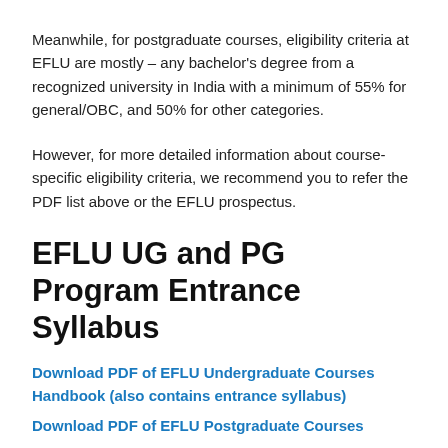Meanwhile, for postgraduate courses, eligibility criteria at EFLU are mostly – any bachelor's degree from a recognized university in India with a minimum of 55% for general/OBC, and 50% for other categories.
However, for more detailed information about course-specific eligibility criteria, we recommend you to refer the PDF list above or the EFLU prospectus.
EFLU UG and PG Program Entrance Syllabus
Download PDF of EFLU Undergraduate Courses Handbook (also contains entrance syllabus)
Download PDF of EFLU Postgraduate Courses